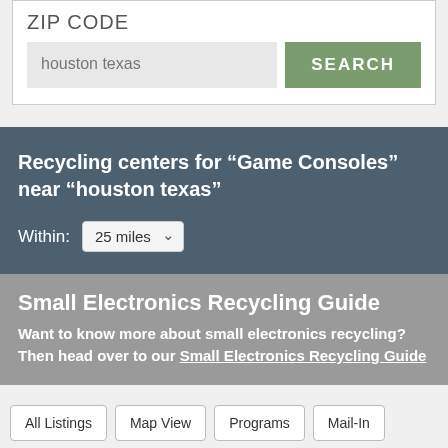ZIP CODE
houston texas
SEARCH
Recycling centers for “Game Consoles” near “houston texas”
Within: 25 miles
Small Electronics Recycling Guide
Want to know more about small electronics recycling? Then head over to our Small Electronics Recycling Guide
All Listings
Map View
Programs
Mail-In